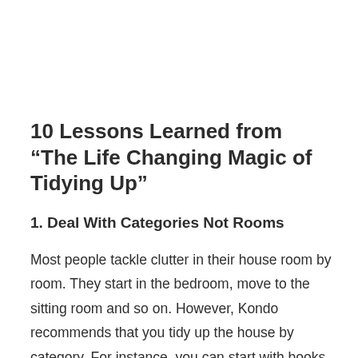10 Lessons Learned from “The Life Changing Magic of Tidying Up”
1. Deal With Categories Not Rooms
Most people tackle clutter in their house room by room. They start in the bedroom, move to the sitting room and so on. However, Kondo recommends that you tidy up the house by category. For instance, you can start with books. Look for every book in the house and begin to tidy up. Otherwise, you will always